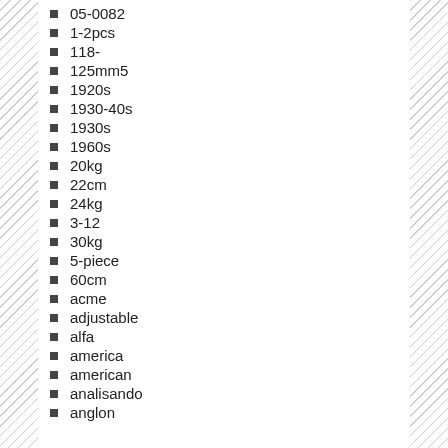05-0082
1-2pcs
118-
125mm5
1920s
1930-40s
1930s
1960s
20kg
22cm
24kg
3-12
30kg
5-piece
60cm
acme
adjustable
alfa
america
american
analisando
anglon